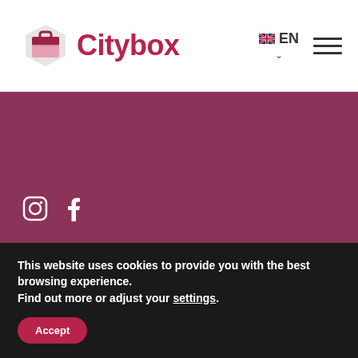[Figure (logo): Citybox hotel logo with briefcase/house icon and red Citybox text in header]
[Figure (logo): EN language selector with UK flag and chevron, plus hamburger menu icon]
[Figure (infographic): Instagram and Facebook icons on dark red background]
CITYBOX ANTWERP
+32 36 33 32 73
ANTWERP@CITYBOXHOTELS.COM
[Figure (infographic): Instagram and Facebook icons on dark red background (second row)]
[Figure (logo): Citybox footer logo with white icon and white Citybox text on dark red background]
This website uses cookies to provide you with the best browsing experience.
Find out more or adjust your settings.